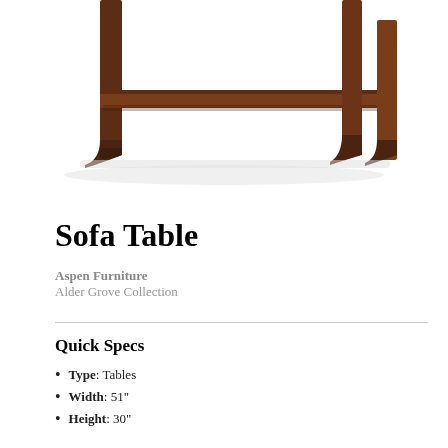[Figure (photo): Product photo of a dark walnut/espresso wood sofa table with a lower shelf, showing the bottom half of the table with four legs and the shelf visible against a white background.]
Sofa Table
Aspen Furniture
Alder Grove Collection
Quick Specs
Type: Tables
Width: 51"
Height: 30"